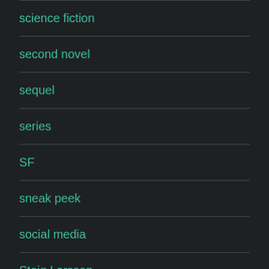science fiction
second novel
sequel
series
SF
sneak peek
social media
Steig Larsson